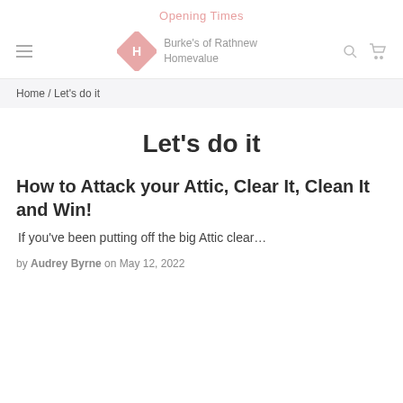Opening Times
[Figure (logo): Burke's of Rathnew Homevalue logo with pink diamond shape and H icon]
Home / Let's do it
Let's do it
How to Attack your Attic, Clear It, Clean It and Win!
If you've been putting off the big Attic clear…
by Audrey Byrne on May 12, 2022